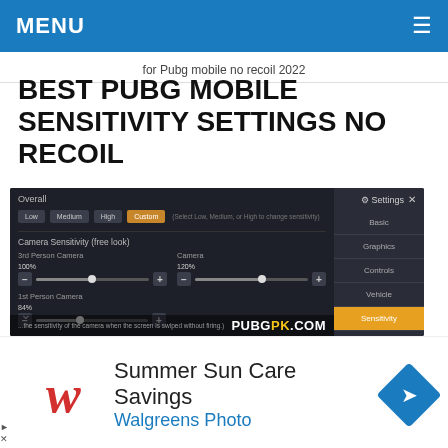MENU ≡
for Pubg mobile no recoil 2022
BEST PUBG MOBILE SENSITIVITY SETTINGS NO RECOIL
[Figure (screenshot): PUBG Mobile in-game sensitivity settings screen showing Overall camera sensitivity with Low, Medium, High, and Custom (selected) buttons, sliders for 3rd Person Camera (100%), Camera (120%), and 1st Person Camera (84%), with a right sidebar showing Settings menu items: Basic, Graphics, Controls, Vehicle, Sensitivity (active), Pick Up, Scope. PUBGPK.COM watermark visible at bottom.]
[Figure (other): Advertisement banner: Walgreens Photo - Summer Sun Care Savings with Walgreens W logo and navigation arrow icon]